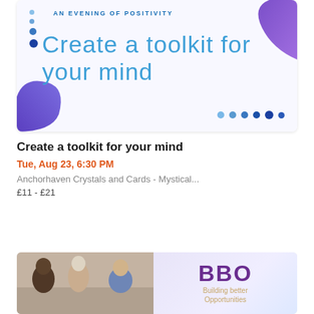[Figure (illustration): Event promotional banner with blue/purple gradient corner blobs, decorative dots, subtitle 'AN EVENING OF POSITIVITY' and large text 'Create a toolkit for your mind']
Create a toolkit for your mind
Tue, Aug 23, 6:30 PM
Anchorhaven Crystals and Cards - Mystical...
£11 - £21
[Figure (illustration): BBO Building Better Opportunities advertisement banner with photo of three women on left and BBO logo text on right with purple/gold gradient background]